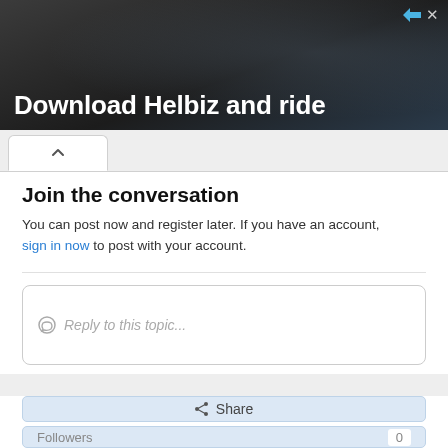[Figure (screenshot): Advertisement banner with dark background showing 'Download Helbiz and ride' text with close/ad icons in top right corner]
[Figure (screenshot): Browser tab bar with a caret/collapse icon tab active on white background]
Join the conversation
You can post now and register later. If you have an account, sign in now to post with your account.
[Figure (screenshot): Reply text input box with speech bubble icon and placeholder text 'Reply to this topic...']
[Figure (screenshot): Share button with share icon, light blue background]
[Figure (screenshot): Followers section showing 'Followers' label and count of 0]